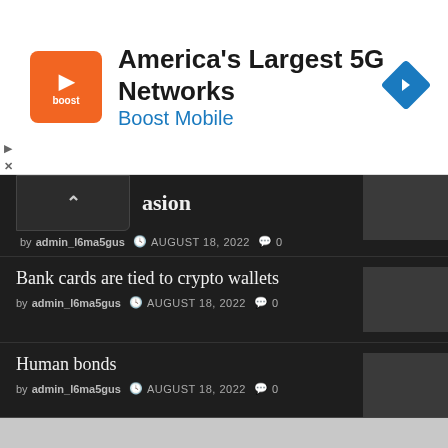[Figure (infographic): Advertisement banner for Boost Mobile: America's Largest 5G Networks]
asion
by admin_l6ma5gus  AUGUST 18, 2022  0
Bank cards are tied to crypto wallets
by admin_l6ma5gus  AUGUST 18, 2022  0
Human bonds
by admin_l6ma5gus  AUGUST 18, 2022  0